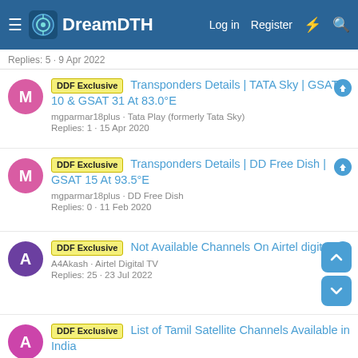DreamDTH — Log in  Register
Replies: 5 · 9 Apr 2022
DDF Exclusive  Transponders Details | TATA Sky | GSAT 10 & GSAT 31 At 83.0°E
mgparmar18plus · Tata Play (formerly Tata Sky)
Replies: 1 · 15 Apr 2020
DDF Exclusive  Transponders Details | DD Free Dish | GSAT 15 At 93.5°E
mgparmar18plus · DD Free Dish
Replies: 0 · 11 Feb 2020
DDF Exclusive  Not Available Channels On Airtel digital TV
A4Akash · Airtel Digital TV
Replies: 25 · 23 Jul 2022
DDF Exclusive  List of Tamil Satellite Channels Available in India